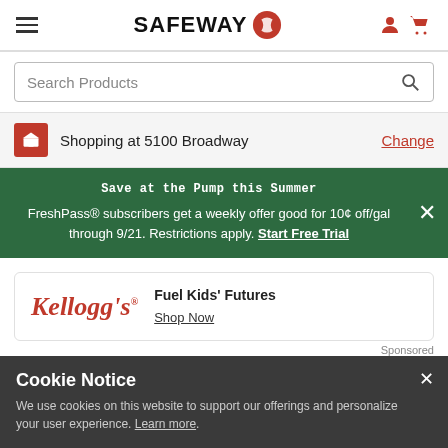SAFEWAY
Search Products
Shopping at 5100 Broadway  Change
Save at the Pump this Summer
FreshPass® subscribers get a weekly offer good for 10¢ off/gal through 9/21. Restrictions apply. Start Free Trial
[Figure (logo): Kellogg's logo in red italic script]
Fuel Kids' Futures
Shop Now
Sponsored
Cookie Notice
We use cookies on this website to support our offerings and personalize your user experience. Learn more.